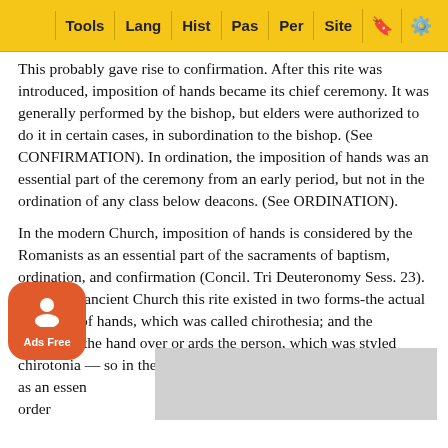Tools | Lang | Hist | Pas | Per | Site
This probably gave rise to confirmation. After this rite was introduced, imposition of hands became its chief ceremony. It was generally performed by the bishop, but elders were authorized to do it in certain cases, in subordination to the bishop. (See CONFIRMATION). In ordination, the imposition of hands was an essential part of the ceremony from an early period, but not in the ordination of any class below deacons. (See ORDINATION).
In the modern Church, imposition of hands is considered by the Romanists as an essential part of the sacraments of baptism, ordination, and confirmation (Concil. Tri Deuteronomy Sess. 23). "As in the ancient Church this rite existed in two forms-the actual laying on of hands, which was called chirothesia; and the extending the hand over or ards the person, which was styled chirotonia — so in the an Catholic Church the former is retained as an essen ly order he priest